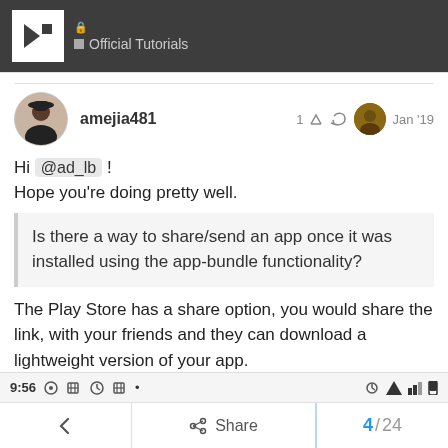Official Tutorials
amejia481 · 1 · Jan '19
Hi @ad_lb !
Hope you're doing pretty well.
Is there a way to share/send an app once it was installed using the app-bundle functionality?
The Play Store has a share option, you would share the link, with your friends and they can download a lightweight version of your app.
← Share 4 / 24